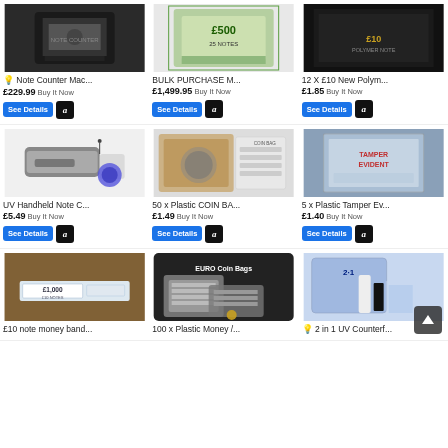[Figure (photo): Note Counter Machine product image]
💡 Note Counter Mac...
£229.99 Buy It Now
[Figure (photo): BULK PURCHASE M... product - £500 note bags]
BULK PURCHASE M...
£1,499.95 Buy It Now
[Figure (photo): 12 X £10 New Polymer notes product image]
12 X £10 New Polym...
£1.85 Buy It Now
[Figure (photo): UV Handheld Note Checker product image - torch with UV light]
UV Handheld Note C...
£5.49 Buy It Now
[Figure (photo): 50 x Plastic COIN BAGS product image]
50 x Plastic COIN BA...
£1.49 Buy It Now
[Figure (photo): 5 x Plastic Tamper Evident bags product image]
5 x Plastic Tamper Ev...
£1.40 Buy It Now
[Figure (photo): £10 note money band product image]
£10 note money band...
[Figure (photo): 100 x Plastic Money / EURO Coin Bags product image]
100 x Plastic Money /...
[Figure (photo): 2 in 1 UV Counterfeit pen product image]
💡 2 in 1 UV Counterf...